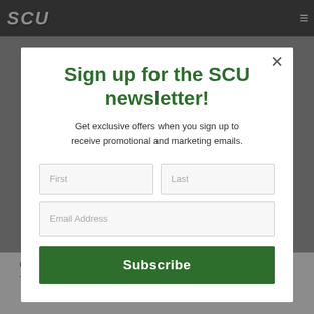SCU
[Figure (screenshot): Background page content behind modal overlay showing a blurred news article page]
Sign up for the SCU newsletter!
Get exclusive offers when you sign up to receive promotional and marketing emails.
First | Last | Email Address | Subscribe
COLOGNE, Germany, Sept. 19, 2016 /PRNewswire/ -- Panasonic is proud to introduce the LUMIX LX10, the